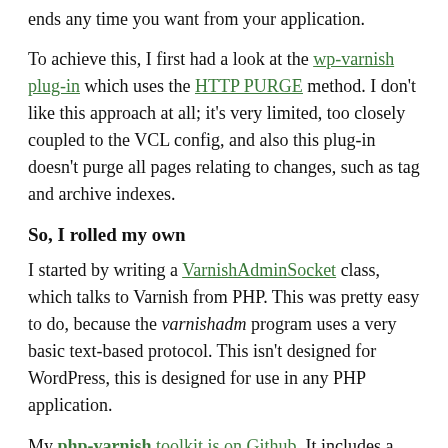ends any time you want from your application.
To achieve this, I first had a look at the wp-varnish plug-in which uses the HTTP PURGE method. I don't like this approach at all; it's very limited, too closely coupled to the VCL config, and also this plug-in doesn't purge all pages relating to changes, such as tag and archive indexes.
So, I rolled my own
I started by writing a VarnishAdminSocket class, which talks to Varnish from PHP. This was pretty easy to do, because the varnishadm program uses a very basic text-based protocol. This isn't designed for WordPress, this is designed for use in any PHP application.
My php-varnish toolkit is on Github. It includes a WordPress plug-in which I am using on this site and you can see the VCL configuration here...